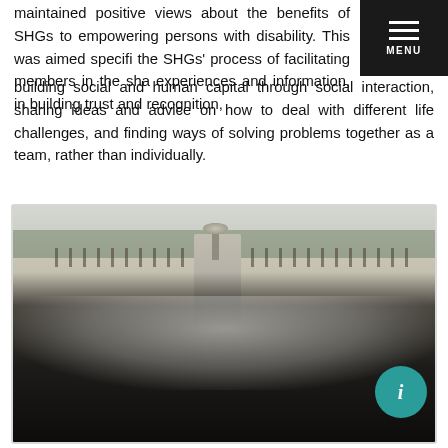maintained positive views about the benefits of SHGs to empowering persons with disability. This was aimed specifically at the SHGs' process of facilitating members in the sharing of experiences and information, in building trust and recognition, building social and human capital through social interaction, sharing ideas and advice on how to deal with different life challenges, and finding ways of solving problems together as a team, rather than individually.
[Figure (photo): Group photo of approximately 20 people wearing matching white polo shirts with dark trim, standing together outdoors in front of a wall with iron railings and a gate pillar. Trees are visible in the background. A teal information circle button is overlaid in the bottom right corner.]